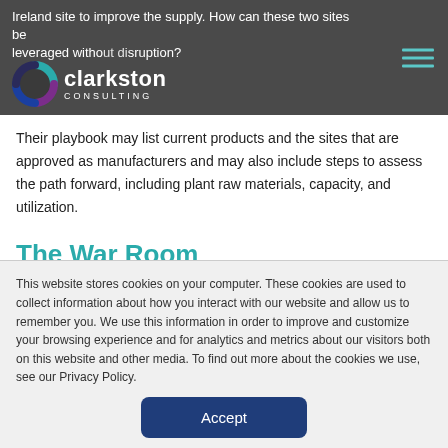Ireland site to improve the supply. How can these two sites be leveraged without disruption?
[Figure (logo): Clarkston Consulting logo with circular icon and white text]
Their playbook may list current products and the sites that are approved as manufacturers and may also include steps to assess the path forward, including plant raw materials, capacity, and utilization.
The War Room
This website stores cookies on your computer. These cookies are used to collect information about how you interact with our website and allow us to remember you. We use this information in order to improve and customize your browsing experience and for analytics and metrics about our visitors both on this website and other media. To find out more about the cookies we use, see our Privacy Policy.